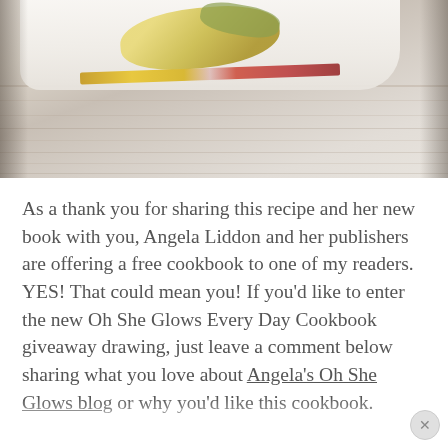[Figure (photo): Overhead photo of food (appears to be sliced melon or similar fruit) on a white plate with a knife, placed on a whitewashed wooden surface/table]
As a thank you for sharing this recipe and her new book with you, Angela Liddon and her publishers are offering a free cookbook to one of my readers. YES! That could mean you! If you'd like to enter the new Oh She Glows Every Day Cookbook giveaway drawing, just leave a comment below sharing what you love about Angela's Oh She Glows blog or why you'd like this cookbook.